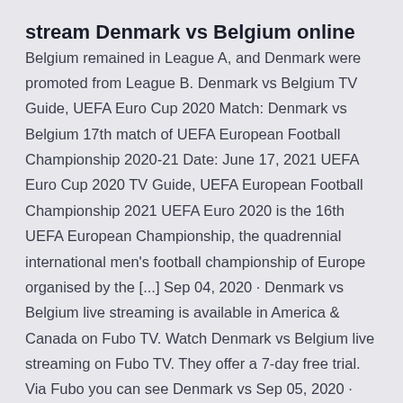stream Denmark vs Belgium online
Belgium remained in League A, and Denmark were promoted from League B. Denmark vs Belgium TV Guide, UEFA Euro Cup 2020 Match: Denmark vs Belgium 17th match of UEFA European Football Championship 2020-21 Date: June 17, 2021 UEFA Euro Cup 2020 TV Guide, UEFA European Football Championship 2021 UEFA Euro 2020 is the 16th UEFA European Championship, the quadrennial international men's football championship of Europe organised by the [...] Sep 04, 2020 · Denmark vs Belgium live streaming is available in America & Canada on Fubo TV. Watch Denmark vs Belgium live streaming on Fubo TV. They offer a 7-day free trial. Via Fubo you can see Denmark vs Sep 05, 2020 · Belgium faces Denmark in a UEFA